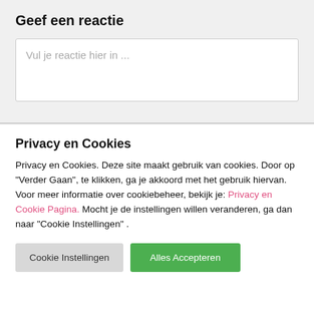Geef een reactie
Vul je reactie hier in ...
Privacy en Cookies
Privacy en Cookies. Deze site maakt gebruik van cookies. Door op "Verder Gaan", te klikken, ga je akkoord met het gebruik hiervan. Voor meer informatie over cookiebeheer, bekijk je: Privacy en Cookie Pagina. Mocht je de instellingen willen veranderen, ga dan naar "Cookie Instellingen" .
Cookie Instellingen
Alles Accepteren